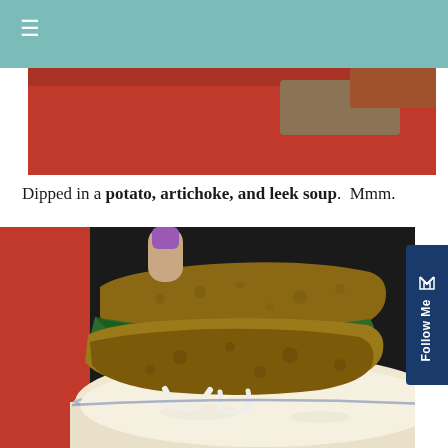[Figure (photo): Top portion of a sandwich with red background, partially visible at the top of the page]
Dipped in a potato, artichoke, and leek soup.  Mmm.
[Figure (photo): A grilled sandwich with green leafy filling being dipped into a white bowl of creamy potato artichoke leek soup, held by a hand with purple nail polish]